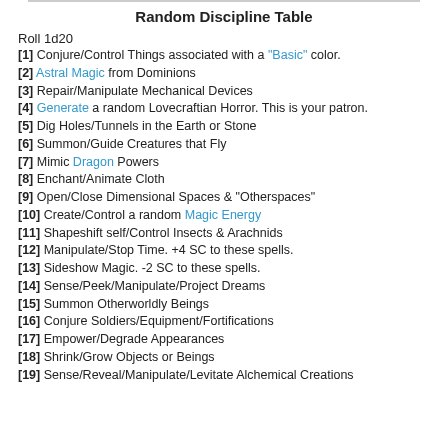Random Discipline Table
Roll 1d20
[1] Conjure/Control Things associated with a "Basic" color.
[2] Astral Magic from Dominions
[3] Repair/Manipulate Mechanical Devices
[4] Generate a random Lovecraftian Horror. This is your patron.
[5] Dig Holes/Tunnels in the Earth or Stone
[6] Summon/Guide Creatures that Fly
[7] Mimic Dragon Powers
[8] Enchant/Animate Cloth
[9] Open/Close Dimensional Spaces & "Otherspaces"
[10] Create/Control a random Magic Energy
[11] Shapeshift self/Control Insects & Arachnids
[12] Manipulate/Stop Time. +4 SC to these spells.
[13] Sideshow Magic. -2 SC to these spells.
[14] Sense/Peek/Manipulate/Project Dreams
[15] Summon Otherworldly Beings
[16] Conjure Soldiers/Equipment/Fortifications
[17] Empower/Degrade Appearances
[18] Shrink/Grow Objects or Beings
[19] Sense/Reveal/Manipulate/Levitate Alchemical Creations